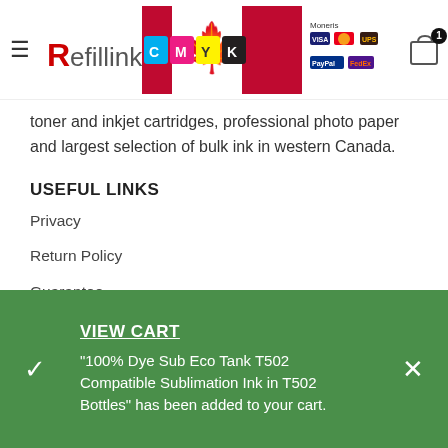[Figure (screenshot): Website header for Refillink.ca with hamburger menu, logo banner showing CMYK ink colors and Canadian flag, payment method icons (Moneris, Visa, Mastercard, UPS, PayPal, FedEx), and shopping cart icon with badge showing 1 item.]
toner and inkjet cartridges, professional photo paper and largest selection of bulk ink in western Canada.
USEFUL LINKS
Privacy
Return Policy
Guarantee
Shipping
FAQs
SUBSCRIBE TO US
VIEW CART
"100% Dye Sub Eco Tank T502 Compatible Sublimation Ink in T502 Bottles" has been added to your cart.